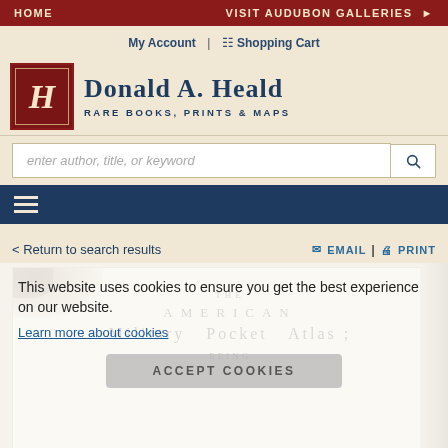HOME | VISIT AUDUBON GALLERIES
My Account | Shopping Cart
Donald A. Heald — Rare Books, Prints & Maps
enter author, title, or keyword
Return to search results
EMAIL | PRINT
This website uses cookies to ensure you get the best experience on our website.
Learn more about cookies
ACCEPT COOKIES
[Figure (photo): Title page of 'The American Military Pocket Atlas', showing aged paper with brown staining in top corner, with the text 'THE AMERICAN Military Pocket Atlas; BEING' visible]